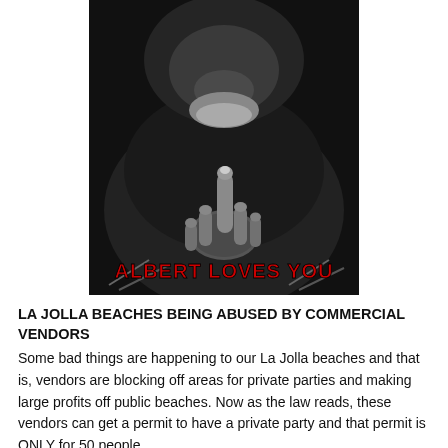[Figure (photo): Close-up photo of a gorilla/ape holding up its middle finger, with a red bold caption 'ALBERT LOVES YOU' overlaid at the bottom of the image.]
LA JOLLA BEACHES BEING ABUSED BY COMMERCIAL VENDORS
Some bad things are happening to our La Jolla beaches and that is, vendors are blocking off areas for private parties and making large profits off public beaches. Now as the law reads, these vendors can get a permit to have a private party and that permit is ONLY for 50 people,